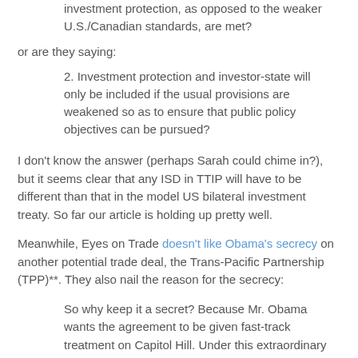investment protection, as opposed to the weaker U.S./Canadian standards, are met?
or are they saying:
2. Investment protection and investor-state will only be included if the usual provisions are weakened so as to ensure that public policy objectives can be pursued?
I don't know the answer (perhaps Sarah could chime in?), but it seems clear that any ISD in TTIP will have to be different than that in the model US bilateral investment treaty. So far our article is holding up pretty well.
Meanwhile, Eyes on Trade doesn't like Obama's secrecy on another potential trade deal, the Trans-Pacific Partnership (TPP)**. They also nail the reason for the secrecy:
So why keep it a secret? Because Mr. Obama wants the agreement to be given fast-track treatment on Capitol Hill. Under this extraordinary